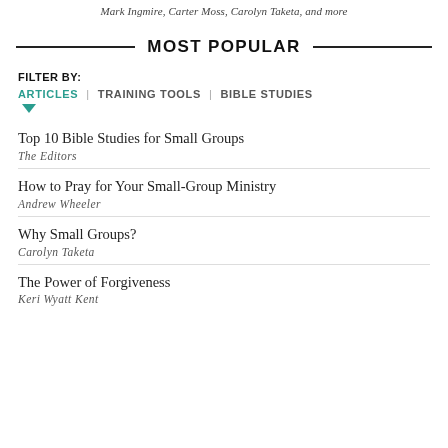Mark Ingmire, Carter Moss, Carolyn Taketa, and more
MOST POPULAR
FILTER BY: ARTICLES | TRAINING TOOLS | BIBLE STUDIES
Top 10 Bible Studies for Small Groups — The Editors
How to Pray for Your Small-Group Ministry — Andrew Wheeler
Why Small Groups? — Carolyn Taketa
The Power of Forgiveness — Keri Wyatt Kent